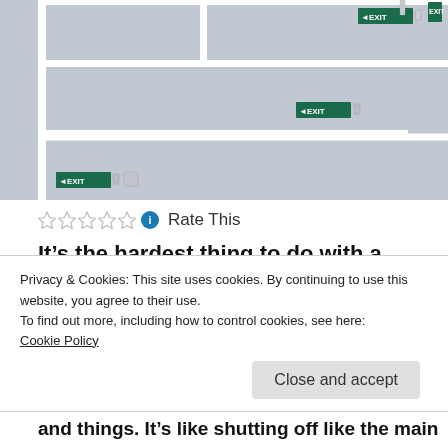[Figure (photo): White maze-like interior walls with green EXIT signs mounted on them and emergency lighting fixtures.]
☆☆☆☆☆ ℹ Rate This
It's the hardest thing to do with a Narcissist. They feel entitled to you forever. But certainly
Privacy & Cookies: This site uses cookies. By continuing to use this website, you agree to their use.
To find out more, including how to control cookies, see here:
Cookie Policy
Close and accept
and things. It's like shutting off like the main